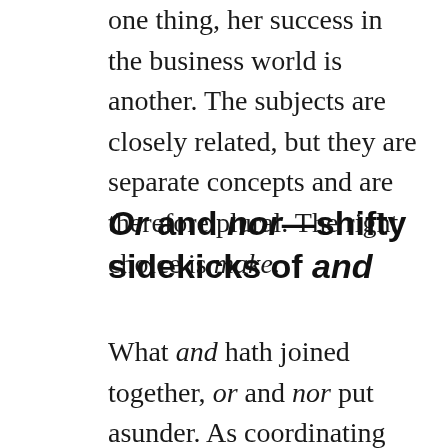one thing, her success in the business world is another. The subjects are closely related, but they are separate concepts and are therefore plural. The right choice is make.
Or and nor—shifty sidekicks of and
What and hath joined together, or and nor put asunder. As coordinating conjunctions, or and nor create compound subjects just as and does, but their meaning keeps the subjects